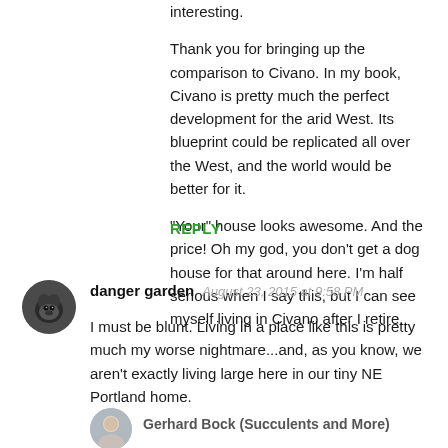interesting.
Thank you for bringing up the comparison to Civano. In my book, Civano is pretty much the perfect development for the arid West. Its blueprint could be replicated all over the West, and the world would be better for it.
"Your" house looks awesome. And the price! Oh my god, you don't get a dog house for that around here. I'm half serious when I say this, but I can see myself living in Civano after I retire.
REPLY
[Figure (photo): Circular avatar photo of a dog/pet, dark colored, used as commenter profile picture]
danger garden  August 23, 2015 at 9:58 PM
I must be blunt. Living in a place like this is pretty much my worse nightmare...and, as you know, we aren't exactly living large here in our tiny NE Portland home.
[Figure (photo): Circular avatar photo of a person, used as commenter profile picture for Gerhard Bock]
Gerhard Bock (Succulents and More)